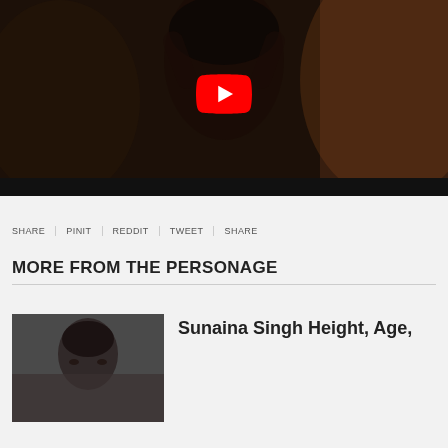[Figure (screenshot): YouTube video thumbnail showing a woman with dark hair, hands raised, with a YouTube play button overlay in the center. Dark cinematic background.]
SHARE | PINIT | REDDIT | TWEET | SHARE |
MORE FROM THE PERSONAGE
[Figure (photo): Partial photo of a person's face, cropped, used as thumbnail for article about Sunaina Singh.]
Sunaina Singh Height, Age,